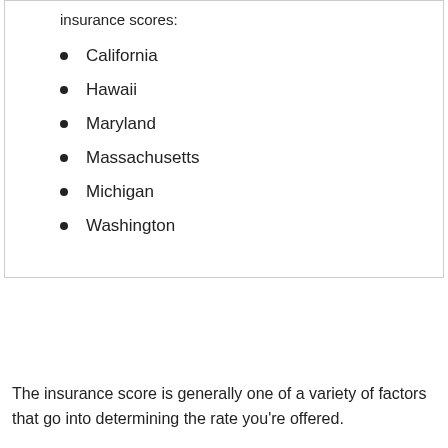insurance scores:
California
Hawaii
Maryland
Massachusetts
Michigan
Washington
The insurance score is generally one of a variety of factors that go into determining the rate you’re offered.